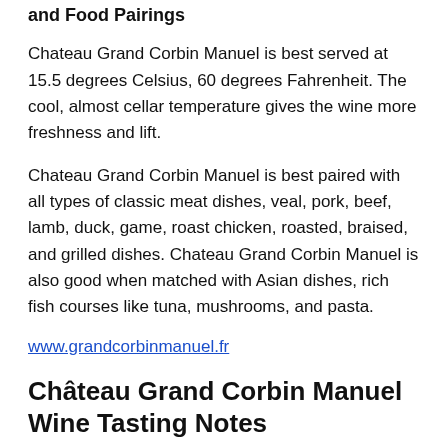and Food Pairings
Chateau Grand Corbin Manuel is best served at 15.5 degrees Celsius, 60 degrees Fahrenheit. The cool, almost cellar temperature gives the wine more freshness and lift.
Chateau Grand Corbin Manuel is best paired with all types of classic meat dishes, veal, pork, beef, lamb, duck, game, roast chicken, roasted, braised, and grilled dishes. Chateau Grand Corbin Manuel is also good when matched with Asian dishes, rich fish courses like tuna, mushrooms, and pasta.
www.grandcorbinmanuel.fr
Château Grand Corbin Manuel Wine Tasting Notes